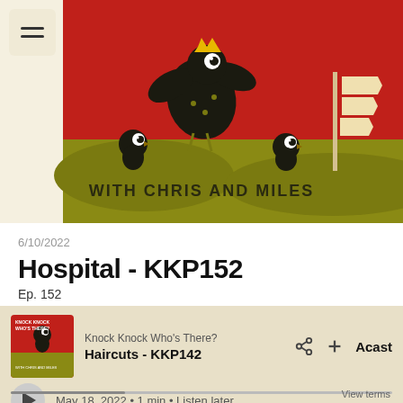[Figure (illustration): Podcast artwork for Knock Knock Who's There? showing illustrated birds on a red and olive-green background with the text WITH CHRIS AND MILES. A hamburger menu icon appears in a beige rounded square at top left.]
6/10/2022
Hospital - KKP152
Ep. 152
Join Chris and Miles as they share joy and laughter
[Figure (screenshot): Bottom player bar with thumbnail of Knock Knock Who's There? podcast art, showing episode Haircuts - KKP142, dated May 18, 2022, 1 min, Listen later, with play button, share, add, and Acast branding. View terms link at bottom right.]
Knock Knock Who's There?
Haircuts - KKP142
May 18, 2022 • 1 min • Listen later
View terms